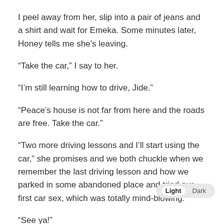I peel away from her, slip into a pair of jeans and a shirt and wait for Emeka. Some minutes later, Honey tells me she's leaving.
“Take the car,” I say to her.
“I’m still learning how to drive, Jide.”
“Peace’s house is not far from here and the roads are free. Take the car.”
“Two more driving lessons and I’ll start using the car,” she promises and we both chuckle when we remember the last driving lesson and how we parked in some abandoned place and tried our first car sex, which was totally mind-blowing.
“See ya!”